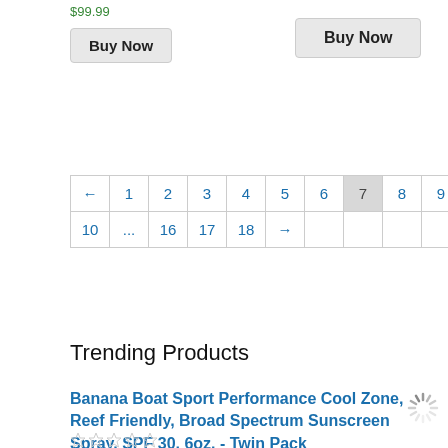$99.99
Buy Now
Buy Now
| ← | 1 | 2 | 3 | 4 | 5 | 6 | 7 | 8 | 9 |
| 10 | ... | 16 | 17 | 18 | → |  |  |  |  |
Trending Products
Banana Boat Sport Performance Cool Zone, Reef Friendly, Broad Spectrum Sunscreen Spray, SPF 30, 6oz. - Twin Pack